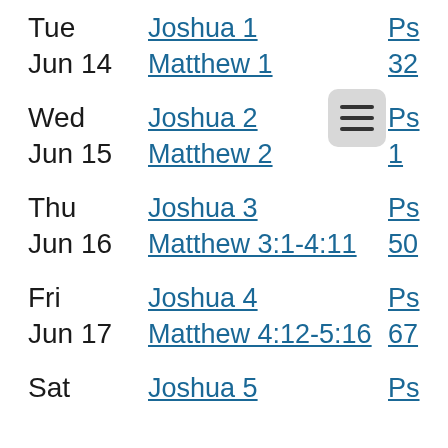Tue | Joshua 1 | Ps
Jun 14 | Matthew 1 | 32
Wed | Joshua 2 | Ps
Jun 15 | Matthew 2 | 1
Thu | Joshua 3 | Ps
Jun 16 | Matthew 3:1-4:11 | 50
Fri | Joshua 4 | Ps
Jun 17 | Matthew 4:12-5:16 | 67
Sat | Joshua 5 | Ps